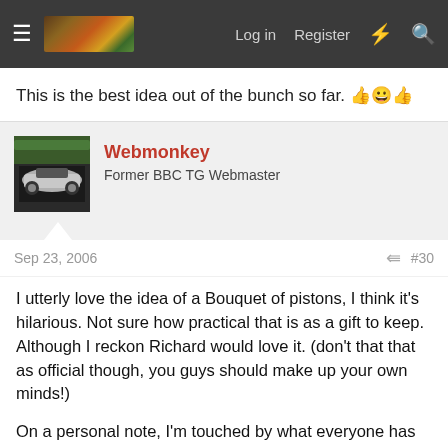Log in  Register
This is the best idea out of the bunch so far. 👍😊👍
Webmonkey
Former BBC TG Webmaster
Sep 23, 2006  #30
I utterly love the idea of a Bouquet of pistons, I think it's hilarious. Not sure how practical that is as a gift to keep. Although I reckon Richard would love it. (don't that that as official though, you guys should make up your own minds!)
On a personal note, I'm touched by what everyone has been saying and doing for Richard. The sheer amount of money raised here, and by pistonheads is staggering, and a testiment to how well loved Richard is.
Between bbc.co.uk/topgear and topgear.com we have had over